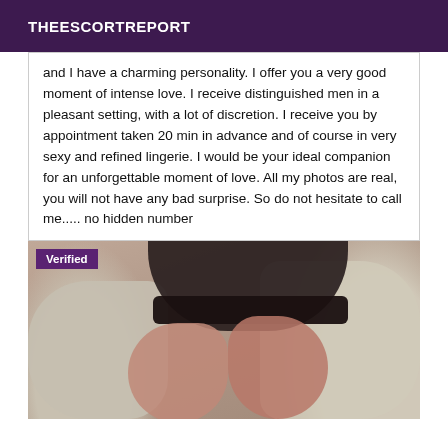THEESCORTREPORT
and I have a charming personality. I offer you a very good moment of intense love. I receive distinguished men in a pleasant setting, with a lot of discretion. I receive you by appointment taken 20 min in advance and of course in very sexy and refined lingerie. I would be your ideal companion for an unforgettable moment of love. All my photos are real, you will not have any bad surprise. So do not hesitate to call me..... no hidden number
[Figure (photo): Photo of person's legs wearing black stockings/lingerie on a decorative pillow, with a 'Verified' badge overlay in the top-left corner.]